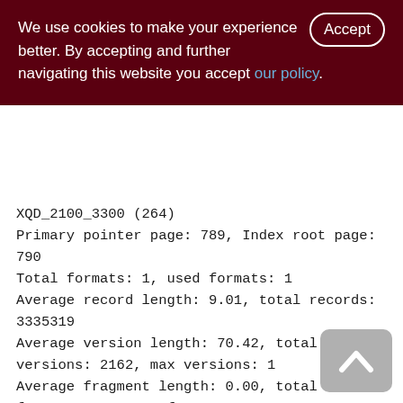We use cookies to make your experience better. By accepting and further navigating this website you accept our policy.
XQD_2100_3300 (264)
Primary pointer page: 789, Index root page: 790
Total formats: 1, used formats: 1
Average record length: 9.01, total records: 3335319
Average version length: 70.42, total versions: 2162, max versions: 1
Average fragment length: 0.00, total fragments: 0, max fragments: 0
Average unpacked length: 136.00, compression ratio: 15.10